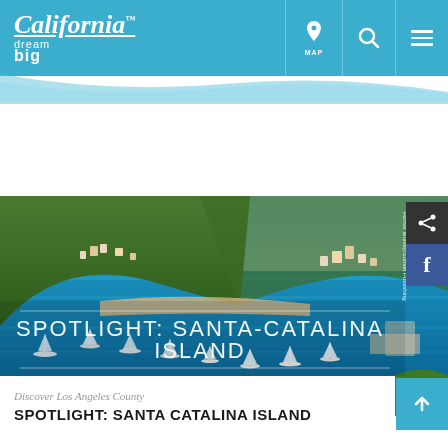California dream big
[Figure (photo): Aerial view of Santa Catalina Island harbor with boats and hillside buildings, blue ocean water, and mountainous terrain]
SPOTLIGHT: SANTA-CATALINA ISLAND
Discover Los Angeles County
SPOTLIGHT: SANTA CATALINA ISLAND